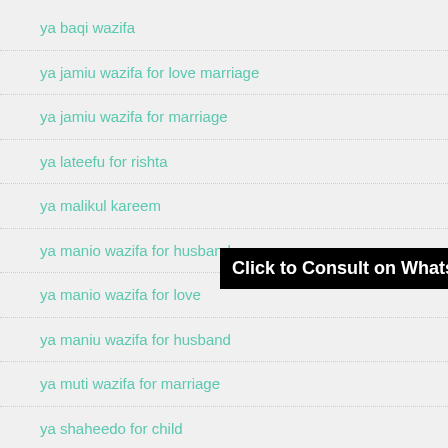ya baqi wazifa
ya jamiu wazifa for love marriage
ya jamiu wazifa for marriage
ya lateefu for rishta
ya malikul kareem
ya manio wazifa for husband
ya manio wazifa for love
ya maniu wazifa for husband
ya muti wazifa for marriage
ya shaheedo for child
Click to Consult on Whatsapp